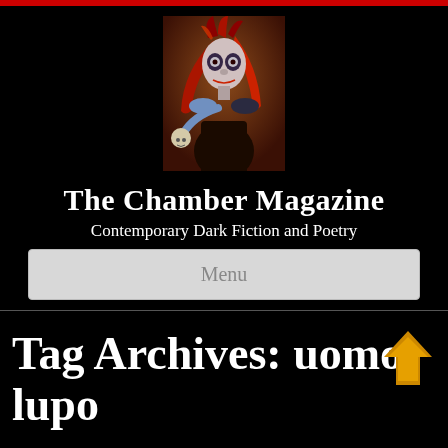[Figure (illustration): Logo image: a woman with Day of the Dead skull face paint, red hair, holding a skull, on a brown/orange background]
The Chamber Magazine
Contemporary Dark Fiction and Poetry
Menu
Tag Archives: uomo-lupo